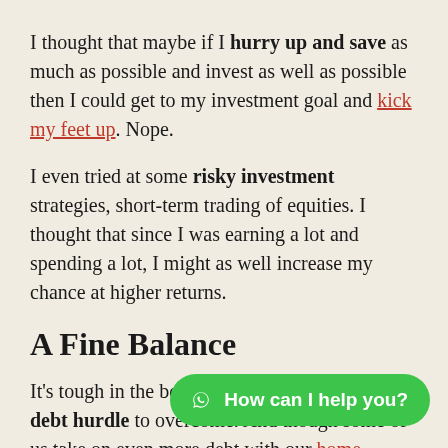I thought that maybe if I hurry up and save as much as possible and invest as well as possible then I could get to my investment goal and kick my feet up. Nope.
I even tried at some risky investment strategies, short-term trading of equities. I thought that since I was earning a lot and spending a lot, I might as well increase my chance at higher returns.
A Fine Balance
It's tough in the beginning because we have the debt hurdle to overcome. And though some of us take on even more debt with our home purchase, at least the current mortgage rates allow for mortgage installments similar to rent payment
After the debt has been paid, it makes sense to pick off the ti